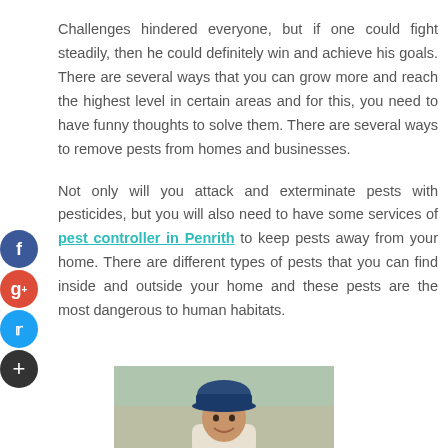Challenges hindered everyone, but if one could fight steadily, then he could definitely win and achieve his goals. There are several ways that you can grow more and reach the highest level in certain areas and for this, you need to have funny thoughts to solve them. There are several ways to remove pests from homes and businesses.
Not only will you attack and exterminate pests with pesticides, but you will also need to have some services of pest controller in Penrith to keep pests away from your home. There are different types of pests that you can find inside and outside your home and these pests are the most dangerous to human habitats.
[Figure (photo): Photo of a man wearing a blue cap, smiling, partial view from shoulders up]